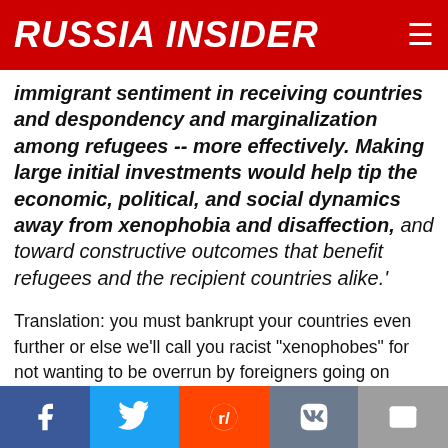RUSSIA INSIDER
immigrant sentiment in receiving countries and despondency and marginalization among refugees -- more effectively. Making large initial investments would help tip the economic, political, and social dynamics away from xenophobia and disaffection, and toward constructive outcomes that benefit refugees and the recipient countries alike.'
Translation: you must bankrupt your countries even further or else we'll call you racist "xenophobes" for not wanting to be overrun by foreigners going on raping sprees.
'Surge funding has been used often to finance